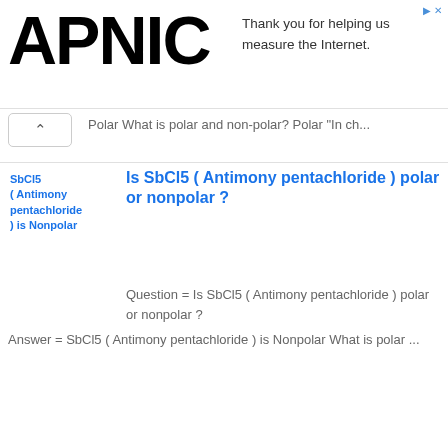[Figure (screenshot): APNIC advertisement banner with logo and text 'Thank you for helping us measure the Internet.']
Polar What is polar and non-polar? Polar "In ch...
SbCl5 ( Antimony pentachloride ) is Nonpolar
Is SbCl5 ( Antimony pentachloride ) polar or nonpolar ?
Question  = Is SbCl5 ( Antimony pentachloride ) polar or nonpolar ? Answer  = SbCl5 ( Antimony pentachloride ) is  Nonpolar What is polar ...
So3 2- ( sulfite ion ) is Polar
Is So3 2- ( sulfite ion ) polar or nonpolar ?
Question  = Is So3 2- ( sulfite ion ) polar or nonpolar ? Answer  = So3 2- ( sulfite ion ) is  Polar What is polar and non-polar? Polar ...
Is CH3CH3 an acid or base or salt ?
Is CH3CH3 an acid or base or salt ?
Question :  Is CH3CH3 an acid or base or salt ? Answer :  CH3CH3 is not...